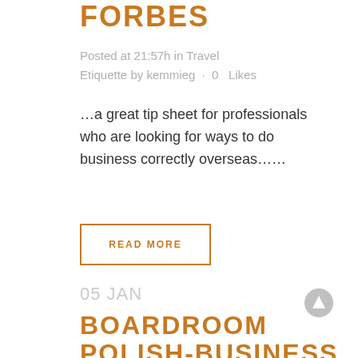FORBES
Posted at 21:57h in Travel Etiquette by kemmieg · 0  Likes
…a great tip sheet for professionals who are looking for ways to do business correctly overseas……
READ MORE
05 JAN
BOARDROOM POLISH-BUSINESS ETIQUETTE &